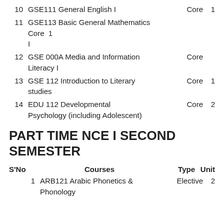10  GSE111 General English I  Core  1
11  GSE113 Basic General Mathematics Core  1  I
12  GSE 000A Media and Information  Core  Literacy I
13  GSE 112 Introduction to Literary  Core  1  studies
14  EDU 112 Developmental  Core  2  Psychology (including Adolescent)
PART TIME NCE I SECOND SEMESTER
| S'No | Courses | Type | Unit |
| --- | --- | --- | --- |
| 1 | ARB121 Arabic Phonetics & Phonology | Elective | 2 |